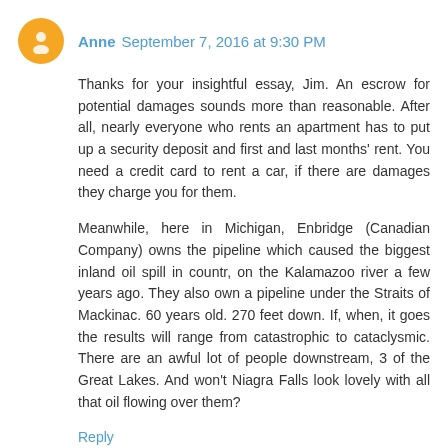Anne September 7, 2016 at 9:30 PM
Thanks for your insightful essay, Jim. An escrow for potential damages sounds more than reasonable. After all, nearly everyone who rents an apartment has to put up a security deposit and first and last months' rent. You need a credit card to rent a car, if there are damages they charge you for them.
Meanwhile, here in Michigan, Enbridge (Canadian Company) owns the pipeline which caused the biggest inland oil spill in countr, on the Kalamazoo river a few years ago. They also own a pipeline under the Straits of Mackinac. 60 years old. 270 feet down. If, when, it goes the results will range from catastrophic to cataclysmic. There are an awful lot of people downstream, 3 of the Great Lakes. And won't Niagra Falls look lovely with all that oil flowing over them?
Reply